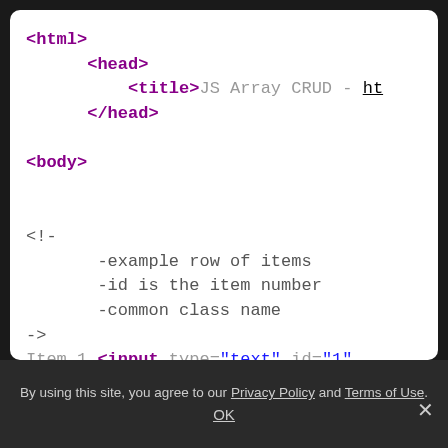[Figure (screenshot): HTML code editor screenshot showing HTML structure with html, head, title (JS Array CRUD), head closing, body tags, HTML comment with bullet points (-example row of items, -id is the item number, -common class name), and three Item lines with input tags of type text and ids 1, 2, 3]
By using this site, you agree to our Privacy Policy and Terms of Use. OK